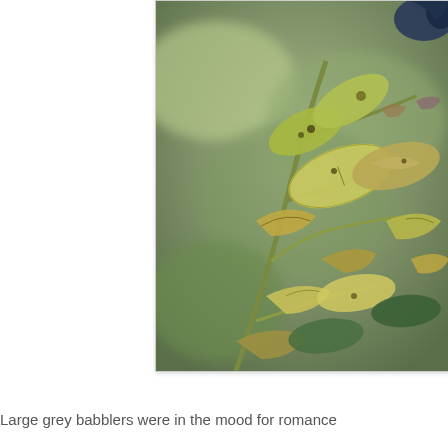[Figure (photo): Close-up photograph of a plant branch with yellowing, browning, and damaged leaves showing disease or pest damage. A dark-colored bird (possibly a large grey babbler) is partially visible at the top right corner. Background is a blurred green outdoor setting.]
Large grey babblers were in the mood for romance